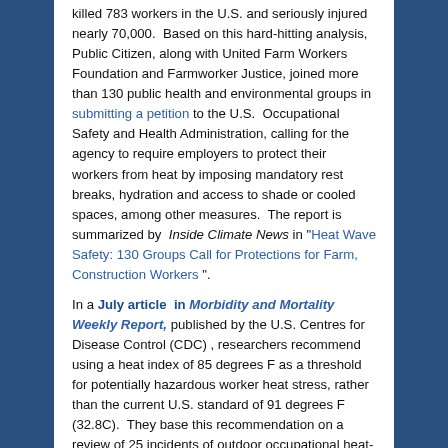killed 783 workers in the U.S. and seriously injured nearly 70,000. Based on this hard-hitting analysis, Public Citizen, along with United Farm Workers Foundation and Farmworker Justice, joined more than 130 public health and environmental groups in submitting a petition to the U.S. Occupational Safety and Health Administration, calling for the agency to require employers to protect their workers from heat by imposing mandatory rest breaks, hydration and access to shade or cooled spaces, among other measures. The report is summarized by Inside Climate News in "Heat Wave Safety: 130 Groups Call for Protections for Farm, Construction Workers".
In a July article in Morbidity and Mortality Weekly Report, published by the U.S. Centres for Disease Control (CDC), researchers recommend using a heat index of 85 degrees F as a threshold for potentially hazardous worker heat stress, rather than the current U.S. standard of 91 degrees F (32.8C). They base this recommendation on a review of 25 incidents of outdoor occupational heat-related illnesses, including 14 deaths,